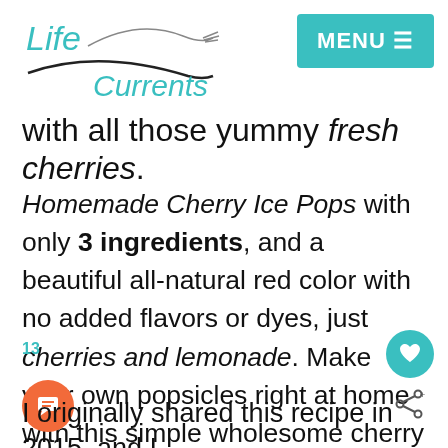Life Currents | MENU
with all those yummy fresh cherries.
Homemade Cherry Ice Pops with only 3 ingredients, and a beautiful all-natural red color with no added flavors or dyes, just cherries and lemonade. Make your own popsicles right at home with this simple wholesome cherry popsicle recipe that adults and kids will love!
I originally shared this recipe in 2015, and I